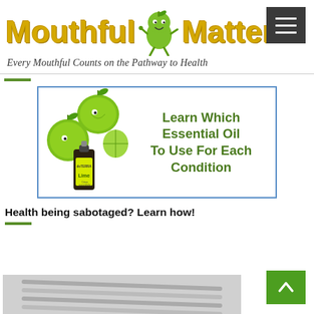[Figure (logo): Hamburger menu button (dark gray, three white lines)]
Mouthful Matters
Every Mouthful Counts on the Pathway to Health
[Figure (illustration): Advertisement banner: lime essential oil bottle with lime fruits, green text: Learn Which Essential Oil To Use For Each Condition]
Health being sabotaged? Learn how!
[Figure (photo): Partially visible image at the bottom of the page (appears to show metal rods or similar objects)]